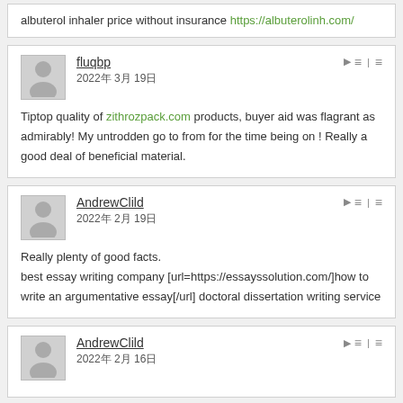albuterol inhaler price without insurance https://albuterolinh.com/
fluqbp
2022年 3月 19日
Tiptop quality of zithrozpack.com products, buyer aid was flagrant as admirably! My untrodden go to from for the time being on ! Really a good deal of beneficial material.
AndrewClild
2022年 2月 19日
Really plenty of good facts.
best essay writing company [url=https://essayssolution.com/]how to write an argumentative essay[/url] doctoral dissertation writing service
AndrewClild
2022年 2月 16日